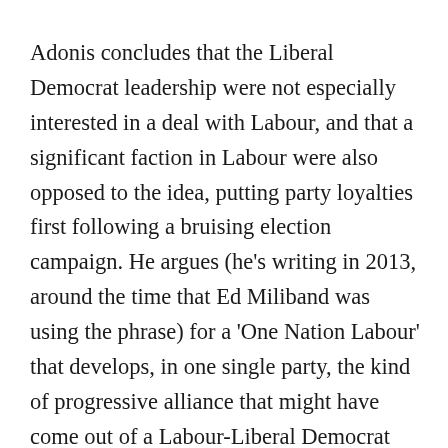Adonis concludes that the Liberal Democrat leadership were not especially interested in a deal with Labour, and that a significant faction in Labour were also opposed to the idea, putting party loyalties first following a bruising election campaign. He argues (he’s writing in 2013, around the time that Ed Miliband was using the phrase) for a ‘One Nation Labour’ that develops, in one single party, the kind of progressive alliance that might have come out of a Labour-Liberal Democrat deal. That in itself is a useful proposition as it makes the point that parties are in themselves coalitions. And perhaps given that